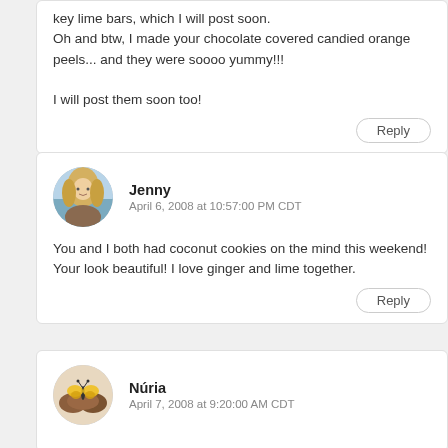key lime bars, which I will post soon.
Oh and btw, I made your chocolate covered candied orange peels... and they were soooo yummy!!!

I will post them soon too!
Reply
Jenny
April 6, 2008 at 10:57:00 PM CDT
You and I both had coconut cookies on the mind this weekend! Your look beautiful! I love ginger and lime together.
Reply
Núria
April 7, 2008 at 9:20:00 AM CDT